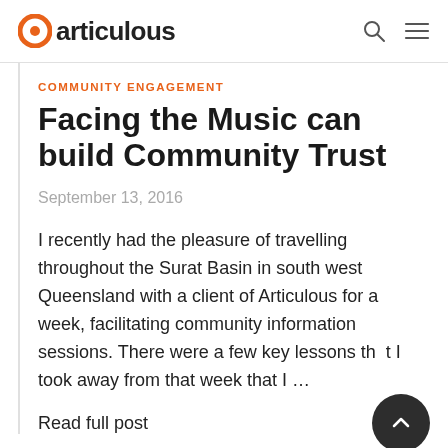articulous
COMMUNITY ENGAGEMENT
Facing the Music can build Community Trust
September 13, 2016
I recently had the pleasure of travelling throughout the Surat Basin in south west Queensland with a client of Articulous for a week, facilitating community information sessions. There were a few key lessons that I took away from that week that I …
Read full post